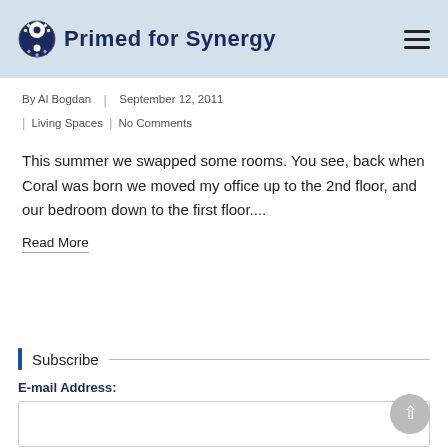Primed for Synergy
By Al Bogdan | September 12, 2011 | Living Spaces | No Comments
This summer we swapped some rooms. You see, back when Coral was born we moved my office up to the 2nd floor, and our bedroom down to the first floor....
Read More
Subscribe
E-mail Address: